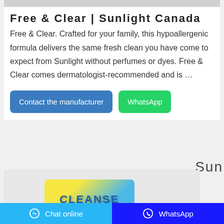[Figure (photo): Top gray image placeholder banner]
Free & Clear | Sunlight Canada
Free & Clear. Crafted for your family, this hypoallergenic formula delivers the same fresh clean you have come to expect from Sunlight without perfumes or dyes. Free & Clear comes dermatologist-recommended and is …
Contact the manufacturer
WhatsApp
Sun
[Figure (photo): Product image showing a Sunlight laundry detergent package with yellow and blue packaging]
Chat online   WhatsApp